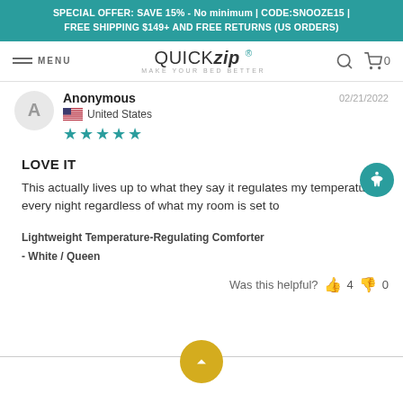SPECIAL OFFER: SAVE 15% - No minimum | CODE:SNOOZE15 | FREE SHIPPING $149+ AND FREE RETURNS (US ORDERS)
[Figure (logo): QuickZip logo with tagline MAKE YOUR BED BETTER, navigation menu icon and cart icon]
Anonymous | 02/21/2022 | United States | ★★★★★
LOVE IT
This actually lives up to what they say it regulates my temperature every night regardless of what my room is set to
Lightweight Temperature-Regulating Comforter - White / Queen
Was this helpful? 👍 4 👎 0